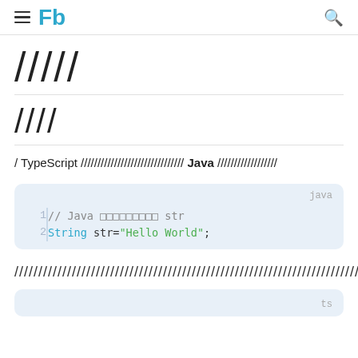Fb
/////
////
/ TypeScript /////////////////////////////// Java ////////////////////
[Figure (screenshot): Java code block with line numbers. Line 1: // Java xxxxxxxxxx str. Line 2: String str="Hello World";]
//////////////////////////////////////////////////////////////////////////
[Figure (screenshot): TypeScript code block (partial, showing only ts label)]